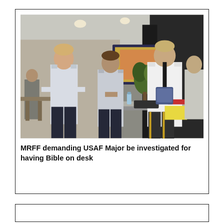[Figure (photo): Three military personnel in uniform standing and conversing near a table in a conference room setting. A screen displaying a presentation is visible in the background along with a plant. On the table there is a water bottle, keyboard, and microphone.]
MRFF demanding USAF Major be investigated for having Bible on desk